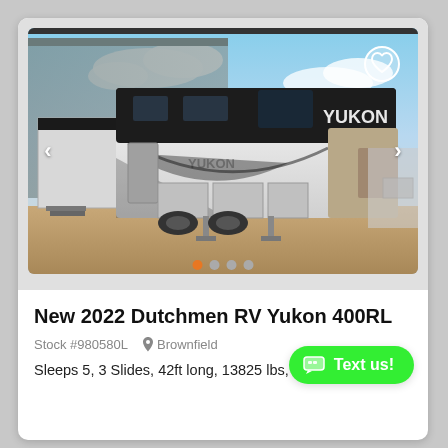[Figure (photo): Exterior photo of a 2022 Dutchmen RV Yukon 400RL fifth-wheel trailer parked outside a large building. White and black two-tone paint with Yukon branding on the side. Image carousel with navigation arrows and dot indicators.]
New 2022 Dutchmen RV Yukon 400RL
Stock #980580L  Brownfield
Sleeps 5,  3 Slides,  42ft long,  13825 lbs,